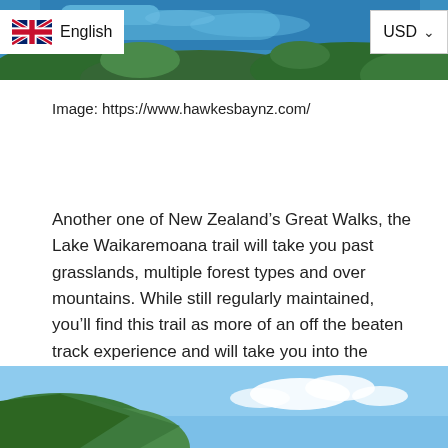[Figure (photo): Aerial view of a lake and forested landscape in New Zealand, showing blue water and green trees (top partial crop)]
English   USD
Image: https://www.hawkesbaynz.com/
Another one of New Zealand's Great Walks, the Lake Waikaremoana trail will take you past grasslands, multiple forest types and over mountains. While still regularly maintained, you'll find this trail as more of an off the beaten track experience and will take you into the stunning natural wilderness that New Zealand has to offer.
[Figure (photo): Partial view of a green hillside and blue sky with white clouds in New Zealand (bottom partial crop)]